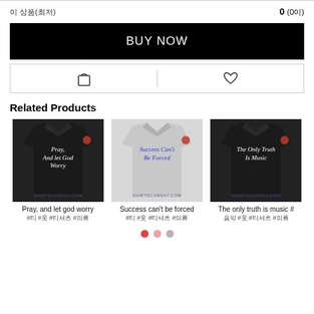이 상품(최저) 0 (0이)
BUY NOW
[Figure (screenshot): Cart and wishlist icon buttons]
Related Products
[Figure (photo): Black t-shirt with text 'Pray, And let God Worry' - shirtscansay.com]
[Figure (photo): Gray t-shirt with text 'Success Can't Be Forced' - shirtscansay.com]
[Figure (photo): Black t-shirt with text 'The Only Truth Is Music' - shirtscansay.com]
Pray, and let god worry
#티 #옷 #티셔츠 #의류
Success can't be forced
#티 #옷 #티셔츠 #의류
The only truth is music #
음악 #옷 #티셔츠 #의류